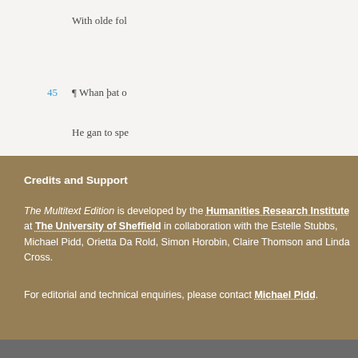With olde fol
45  ¶ Whan þat o
He gan to spe
Credits and Support
The Multitext Edition is developed by the Humanities Research Institute at The University of Sheffield in collaboration with the Estelle Stubbs, Michael Pidd, Orietta Da Rold, Simon Horobin, Claire Thomson and Linda Cross.
For editorial and technical enquiries, please contact Michael Pidd.